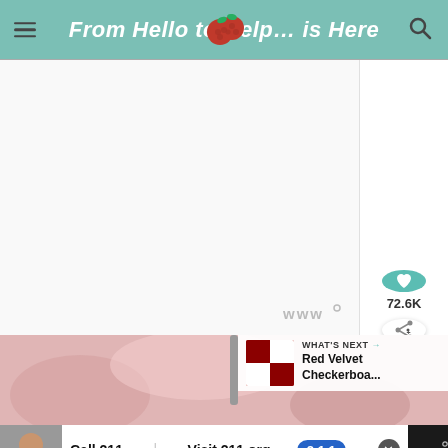From Hello to Help... is Here
[Figure (screenshot): White/light gray blank main content area with a watermark logo text 'www' with a degree symbol in gray at bottom right]
[Figure (photo): Pink/red baking ingredient close-up photo. Overlay in top right shows 'WHAT'S NEXT → Red Velvet Checkerboa...' with a small thumbnail of a red velvet checkerboard cake.]
[Figure (screenshot): Dark ad bar at bottom: child photo thumbnail on left, white ad panel reading 'Call 211 | Visit 211.org' with a blue 2-1-1 badge, close button, and www watermark on right.]